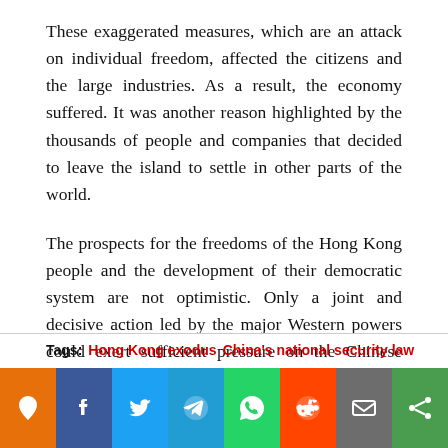These exaggerated measures, which are an attack on individual freedom, affected the citizens and the large industries. As a result, the economy suffered. It was another reason highlighted by the thousands of people and companies that decided to leave the island to settle in other parts of the world.
The prospects for the freedoms of the Hong Kong people and the development of their democratic system are not optimistic. Only a joint and decisive action led by the major Western powers could exert sufficient pressure on the Chinese communist regime to bring about real change. Unfortunately for the people of Hong Kong, so far, no such movement seems to be in the making.
Tags: Hong Kong exodus   China's national security law